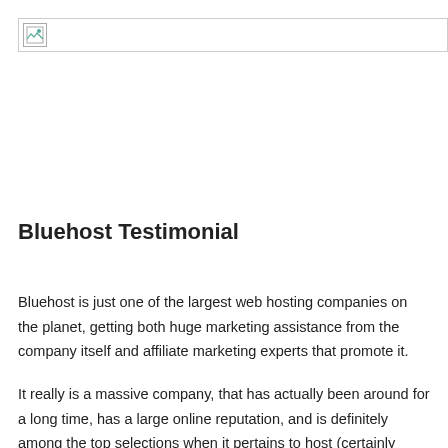[Figure (other): Broken image placeholder icon in a bordered header bar]
Bluehost Testimonial
Bluehost is just one of the largest web hosting companies on the planet, getting both huge marketing assistance from the company itself and affiliate marketing experts that promote it.
It really is a massive company, that has actually been around for a long time, has a large online reputation, and is definitely among the top selections when it pertains to host (certainly